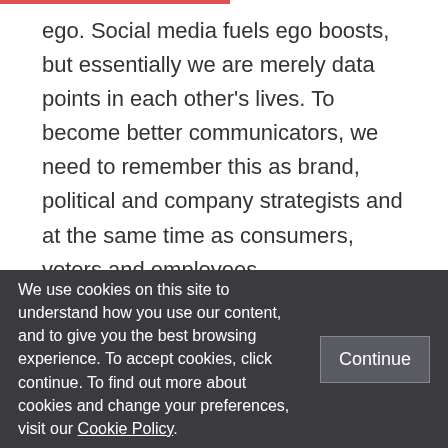ego. Social media fuels ego boosts, but essentially we are merely data points in each other's lives. To become better communicators, we need to remember this as brand, political and company strategists and at the same time as consumers, voters and employees.

Continue reading the entire blog post To Be a Good Communicator, Drop the Ego by Mahua
We use cookies on this site to understand how you use our content, and to give you the best browsing experience. To accept cookies, click continue. To find out more about cookies and change your preferences, visit our Cookie Policy.